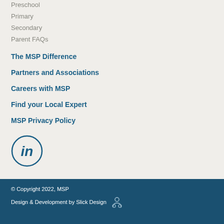Preschool
Primary
Secondary
Parent FAQs
The MSP Difference
Partners and Associations
Careers with MSP
Find your Local Expert
MSP Privacy Policy
[Figure (logo): LinkedIn circular icon with 'in' text in dark blue outline circle]
© Copyright 2022, MSP
Design & Development by Slick Design